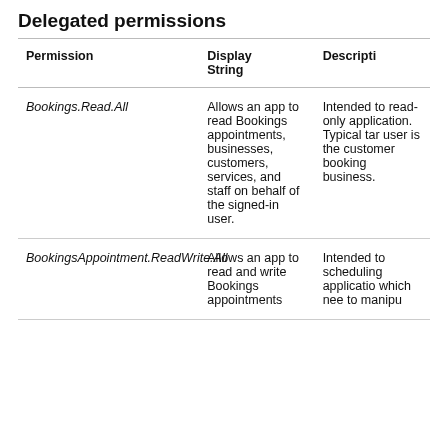Delegated permissions
| Permission | Display String | Description |
| --- | --- | --- |
| Bookings.Read.All | Allows an app to read Bookings appointments, businesses, customers, services, and staff on behalf of the signed-in user. | Intended to read-only applications. Typical target user is the customer booking business. |
| BookingsAppointment.ReadWrite.All | Allows an app to read and write Bookings appointments | Intended to scheduling applications which need to manipulate |